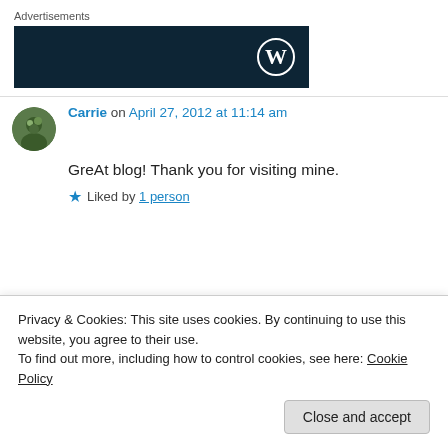Advertisements
[Figure (logo): WordPress dark advertisement banner with WordPress logo (W in circle) on right side]
Carrie on April 27, 2012 at 11:14 am
GreAt blog! Thank you for visiting mine.
Liked by 1 person
Privacy & Cookies: This site uses cookies. By continuing to use this website, you agree to their use.
To find out more, including how to control cookies, see here: Cookie Policy
Close and accept
Thank you Carrie. I appreciate you taking